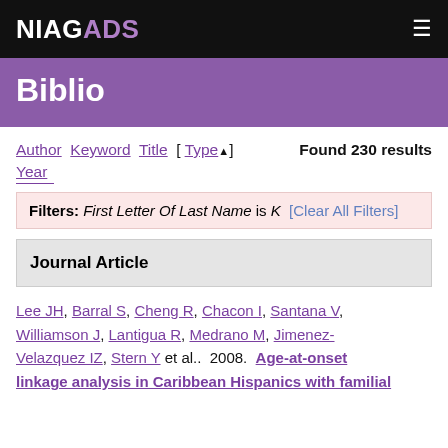NIAGADS [hamburger menu]
Biblio
Author Keyword Title [ Type▲ ]   Found 230 results
Year
Filters: First Letter Of Last Name is K  [Clear All Filters]
Journal Article
Lee JH, Barral S, Cheng R, Chacon I, Santana V, Williamson J, Lantigua R, Medrano M, Jimenez-Velazquez IZ, Stern Y et al..  2008.  Age-at-onset linkage analysis in Caribbean Hispanics with familial